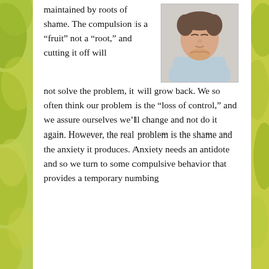[Figure (photo): A person with eyes closed, hands clasped together near their chin in a contemplative or prayerful pose, wearing a light blue shirt.]
maintained by roots of shame. The compulsion is a “fruit” not a “root,” and cutting it off will not solve the problem, it will grow back. We so often think our problem is the “loss of control,” and we assure ourselves we’ll change and not do it again. However, the real problem is the shame and the anxiety it produces. Anxiety needs an antidote and so we turn to some compulsive behavior that provides a temporary numbing